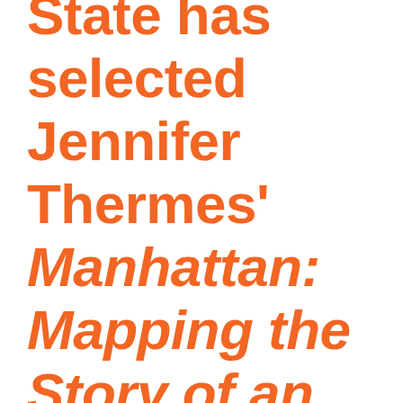State has selected Jennifer Thermes' Manhattan: Mapping the Story of an Island. From before its earliest settlement to the vibrant metropolis that exists today, the island of